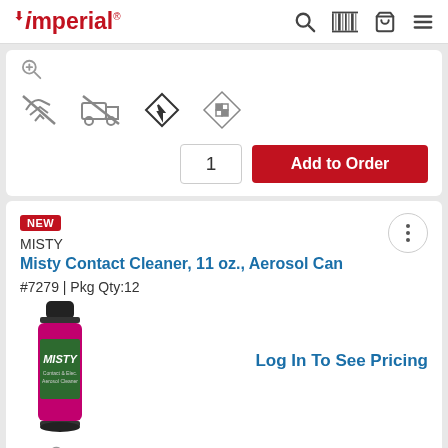Imperial - navigation bar with logo, search, barcode, cart, and menu icons
[Figure (screenshot): Partial product card top with hazard icons (no-fly, no-ship, flammable diamond, DOT hazmat diamond) and quantity input and Add to Order button]
1
Add to Order
NEW
MISTY
Misty Contact Cleaner, 11 oz., Aerosol Can
#7279 | Pkg Qty:12
[Figure (photo): Aerosol can of Misty Contact Cleaner with black cap, magenta/pink body and green label]
Log In To See Pricing